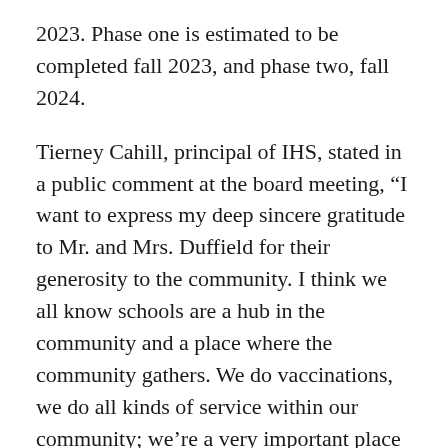2023. Phase one is estimated to be completed fall 2023, and phase two, fall 2024.
Tierney Cahill, principal of IHS, stated in a public comment at the board meeting, “I want to express my deep sincere gratitude to Mr. and Mrs. Duffield for their generosity to the community. I think we all know schools are a hub in the community and a place where the community gathers. We do vaccinations, we do all kinds of service within our community; we’re a very important place for our community. This type of investment is truly remarkable and unbelievable generosity. Thank you doesn’t really seem enough to Mr. and Mrs. Duffield of how grateful we are.”